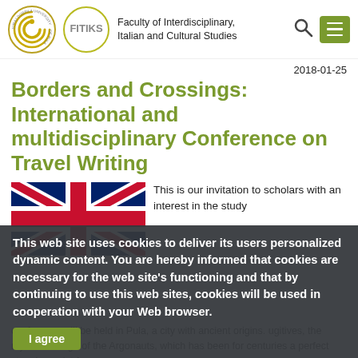[Figure (logo): Juraj Dobrila University of Pula circular logo with golden spiral]
[Figure (logo): FITIKS circular logo with text]
Faculty of Interdisciplinary, Italian and Cultural Studies
2018-01-25
Borders and Crossings: International and multidisciplinary Conference on Travel Writing
[Figure (illustration): United Kingdom flag (Union Jack)]
This is our invitation to scholars with an interest in the study
This web site uses cookies to deliver its users personalized dynamic content. You are hereby informed that cookies are necessary for the web site's functioning and that by continuing to use this web sites, cookies will be used in cooperation with your Web browser.
I agree
conference will be held in Pula, a city with ancient origins. ugitives, the mythical refuge of the Argonauts, which has been for centuries a perfect stopping point for